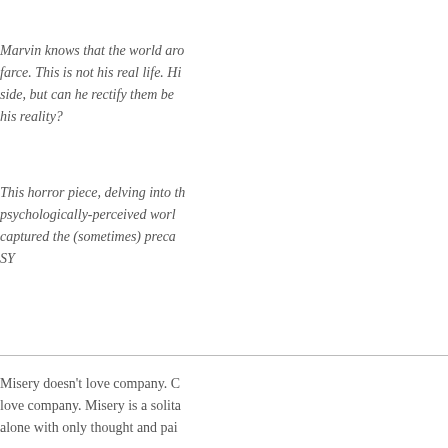Marvin knows that the world aro farce. This is not his real life. Hi side, but can he rectify them be his reality?
This horror piece, delving into th psychologically-perceived worl captured the (sometimes) preca SY
Misery doesn't love company. C love company. Misery is a solita alone with only thought and pai
Marvin Jackson considered this into the red of his eyes, the tiny his irises. It had been another lo
Physically, the pillow-top matre options was akin to resting on a accommodate with the push of